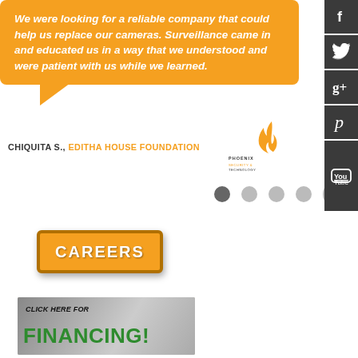We were looking for a reliable company that could help us replace our cameras. Surveillance came in and educated us in a way that we understood and were patient with us while we learned.
CHIQUITA S., EDITHA HOUSE FOUNDATION
[Figure (logo): Phoenix Security & Technology logo with flame icon]
[Figure (other): Pagination dots: 5 dots, first one darker (active)]
[Figure (other): Social media sidebar icons: Facebook, Twitter, Google+, Pinterest, YouTube]
[Figure (other): CAREERS button in orange with dark border]
[Figure (other): Financing banner: CLICK HERE FOR FINANCING!]